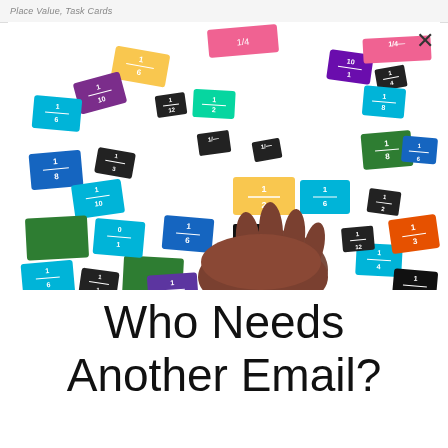Place Value, Task Cards
[Figure (photo): A child's hand holding a small black fraction card among many colorful fraction cards scattered on a white surface. Cards are various colors (teal, blue, purple, green, orange, yellow, pink, black) each showing a fraction like 1/2, 1/3, 1/4, 1/6, 1/8, 1/10, 1/12, etc.]
Who Needs Another Email?